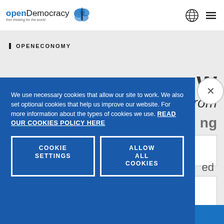openDemocracy free thinking for the world
OPENECONOMY
We use necessary cookies that allow our site to work. We also set optional cookies that help us improve our website. For more information about the types of cookies we use. READ OUR COOKIES POLICY HERE
COOKIE SETTINGS
ALLOW ALL COOKIES
SUBSCRIBE